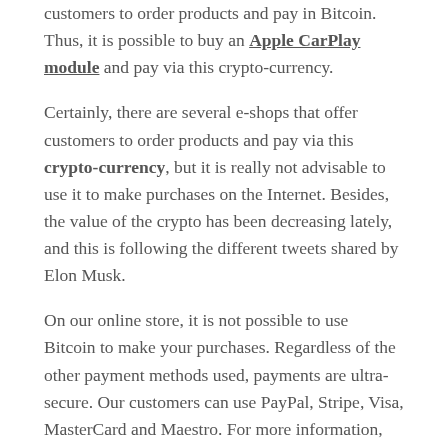customers to order products and pay in Bitcoin. Thus, it is possible to buy an Apple CarPlay module and pay via this crypto-currency.
Certainly, there are several e-shops that offer customers to order products and pay via this crypto-currency, but it is really not advisable to use it to make purchases on the Internet. Besides, the value of the crypto has been decreasing lately, and this is following the different tweets shared by Elon Musk.
On our online store, it is not possible to use Bitcoin to make your purchases. Regardless of the other payment methods used, payments are ultra-secure. Our customers can use PayPal, Stripe, Visa, MasterCard and Maestro. For more information, please visit our online store!
FOLLOW BITCOIN STATISTICS ON